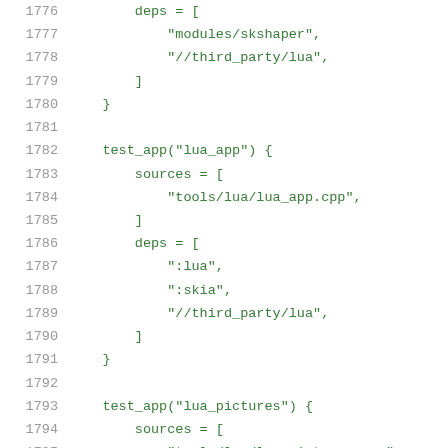Code listing lines 1776-1796 showing build configuration with deps and test_app blocks for lua_app and lua_pictures